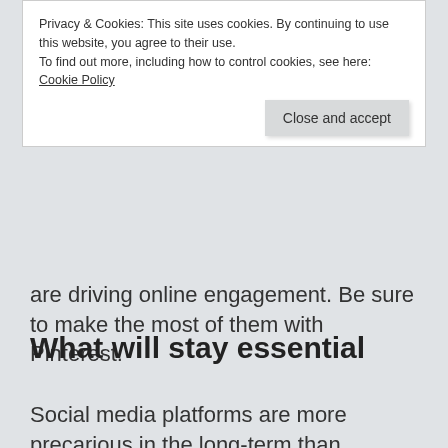Privacy & Cookies: This site uses cookies. By continuing to use this website, you agree to their use.
To find out more, including how to control cookies, see here: Cookie Policy
Close and accept
are driving online engagement. Be sure to make the most of them with Pinterest.
What will stay essential
Social media platforms are more precarious in the long-term than blogging and email marketing. Still, there will be some form of them in use for the immediate future. And Pinterest looks to be one that will last.